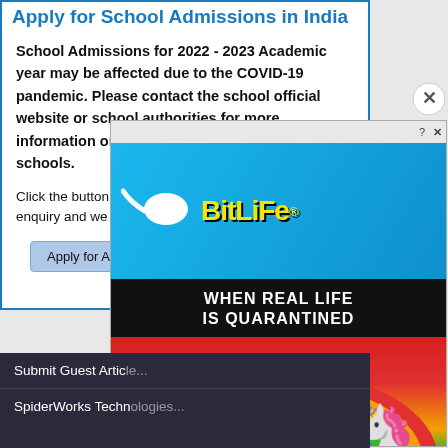Apply for School Admissions in India
School Admissions for 2022 - 2023 Academic year may be affected due to the COVID-19 pandemic. Please contact the school official website or school authorities for more information on the admissions in the respective schools.
Click the button below to submit your enquiry and we wi...
Apply for Admissio...
[Figure (screenshot): BitLife game advertisement overlay showing sperm logo, yellow BitLife text, and tagline WHEN REAL LIFE IS QUARANTINED with colorful emoji characters]
Submit Guest Artic...
SpiderWorks Techn...